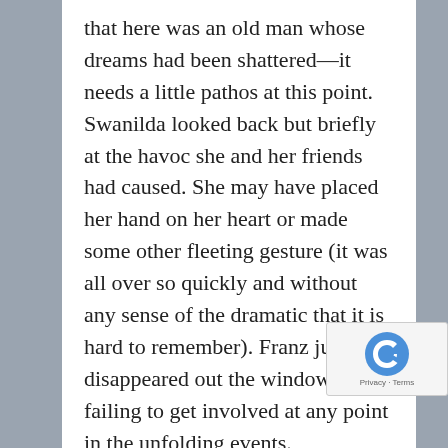that here was an old man whose dreams had been shattered—it needs a little pathos at this point. Swanilda looked back but briefly at the havoc she and her friends had caused. She may have placed her hand on her heart or made some other fleeting gesture (it was all over so quickly and without any sense of the dramatic that it is hard to remember). Franz just disappeared out the window after failing to get involved at any point in the unfolding events.
Act III was little better. By that stage Brescianini had tired badly and was not able to sustain her technique at the level required